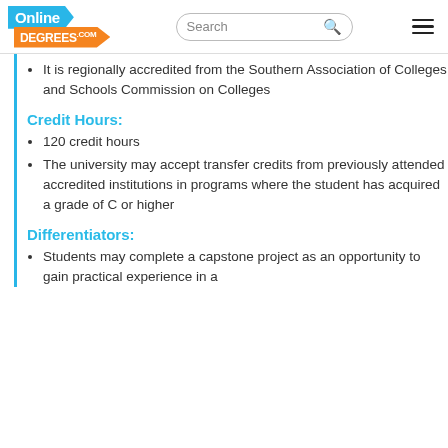OnlineDEGREES.com | Search | Menu
It is regionally accredited from the Southern Association of Colleges and Schools Commission on Colleges
Credit Hours:
120 credit hours
The university may accept transfer credits from previously attended accredited institutions in programs where the student has acquired a grade of C or higher
Differentiators:
Students may complete a capstone project as an opportunity to gain practical experience in a